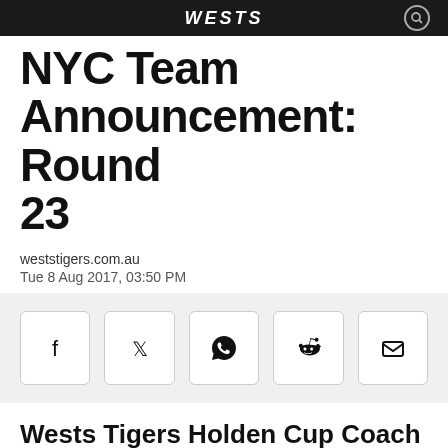WESTS
NYC Team Announcement: Round 23
weststigers.com.au
Tue 8 Aug 2017, 03:50 PM
[Figure (other): Social media share buttons: Facebook, Twitter, WhatsApp, Reddit, Email]
Wests Tigers Holden Cup Coach Chris Hutchison has named his team to take on the Manly-Warringah Sea